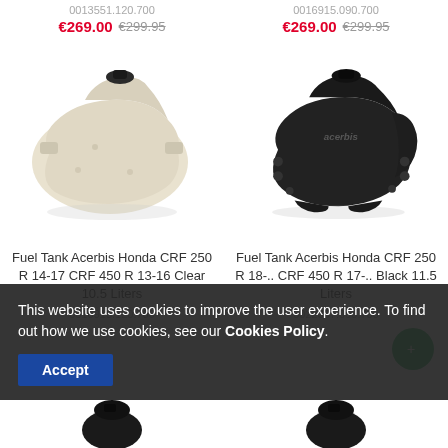0013551.120.700
€269.00  €299.95
0016915.090.700
€269.00  €299.95
[Figure (photo): White/cream colored Acerbis fuel tank for Honda CRF, viewed from front-left angle]
[Figure (photo): Black Acerbis fuel tank for Honda CRF, viewed from front-right angle, with Acerbis logo visible]
Fuel Tank Acerbis Honda CRF 250 R 14-17 CRF 450 R 13-16 Clear 10.5 Liters
Fuel Tank Acerbis Honda CRF 250 R 18-.. CRF 450 R 17-.. Black 11.5 Liters
0016915.120.700
0022387.090.700
This website uses cookies to improve the user experience. To find out how we use cookies, see our Cookies Policy.
Accept